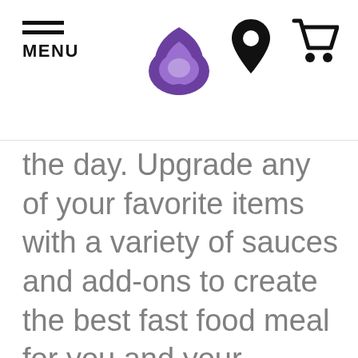[Figure (logo): Taco Bell website header with hamburger menu icon labeled MENU, Taco Bell purple logo (bell shape), location pin icon, and shopping cart icon]
the day. Upgrade any of your favorite items with a variety of sauces and add-ons to create the best fast food meal for you and your friends. If you’re looking for a delicious fast food restaurant in Giddings, TX, Taco Bell® is nearby at